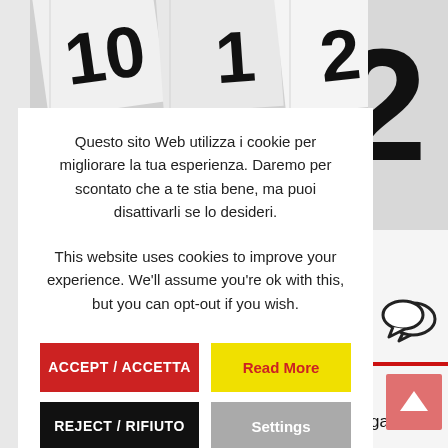[Figure (photo): Photograph of numbered tiles/dice showing numbers 10, 1, and 2, in black on white tiles arranged diagonally]
[Figure (illustration): Chat bubble icon (two overlapping speech bubbles outline)]
Questo sito Web utilizza i cookie per migliorare la tua esperienza. Daremo per scontato che a te stia bene, ma puoi disattivarli se lo desideri.
This website uses cookies to improve your experience. We'll assume you're ok with this, but you can opt-out if you wish.
ACCEPT / ACCETTA
Read More
REJECT / RIFIUTO
Settings
guida
Gigafactory
ettrico